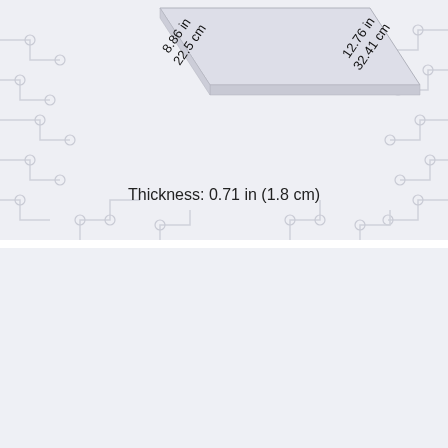[Figure (engineering-diagram): Isometric view of a thin laptop/device with dimension annotations: 8.86 in / 22.5 cm (width), 12.76 in / 32.41 cm (depth), shown on a circuit-board patterned background]
Thickness: 0.71 in (1.8 cm)
Compare HP Pavilion 14" / HP 14 vs other budget laptops:
Search
search